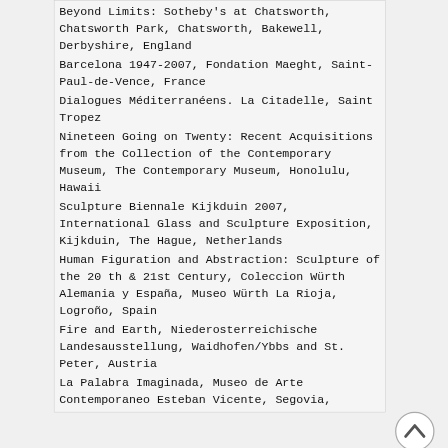Beyond Limits: Sotheby's at Chatsworth, Chatsworth Park, Chatsworth, Bakewell, Derbyshire, England
Barcelona 1947-2007, Fondation Maeght, Saint-Paul-de-Vence, France
Dialogues Méditerranéens. La Citadelle, Saint Tropez
Nineteen Going on Twenty: Recent Acquisitions from the Collection of the Contemporary Museum, The Contemporary Museum, Honolulu, Hawaii
Sculpture Biennale Kijkduin 2007, International Glass and Sculpture Exposition, Kijkduin, The Hague, Netherlands
Human Figuration and Abstraction: Sculpture of the 20 th & 21st Century, Coleccion Würth Alemania y España, Museo Würth La Rioja, Logroño, Spain
Fire and Earth, Niederosterreichische Landesausstellung, Waidhofen/Ybbs and St. Peter, Austria
La Palabra Imaginada, Museo de Arte Contemporaneo Esteban Vicente, Segovia,